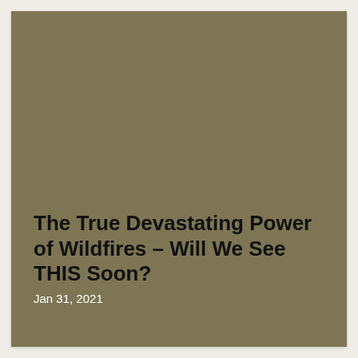[Figure (photo): Large olive/khaki-colored rectangular image area filling most of the card, appears to be a wildfire or smoky landscape photo rendered in muted brownish-green tones.]
The True Devastating Power of Wildfires – Will We See THIS Soon?
Jan 31, 2021